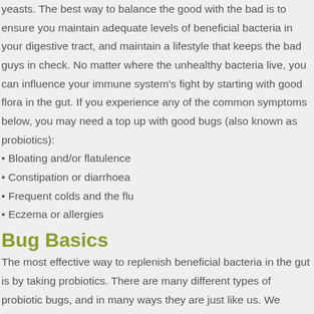yeasts. The best way to balance the good with the bad is to ensure you maintain adequate levels of beneficial bacteria in your digestive tract, and maintain a lifestyle that keeps the bad guys in check. No matter where the unhealthy bacteria live, you can influence your immune system's fight by starting with good flora in the gut. If you experience any of the common symptoms below, you may need a top up with good bugs (also known as probiotics):
• Bloating and/or flatulence
• Constipation or diarrhoea
• Frequent colds and the flu
• Eczema or allergies
Bug Basics
The most effective way to replenish beneficial bacteria in the gut is by taking probiotics. There are many different types of probiotic bugs, and in many ways they are just like us. We employ them because of their occupation. Different strains do different jobs in the body, so it is important to choose the